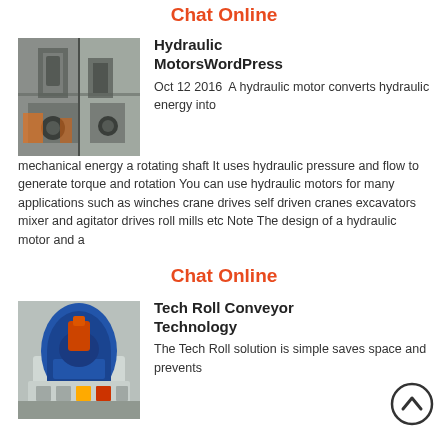Chat Online
[Figure (photo): Industrial hydraulic motors or machinery in a factory setting, showing large metal components and equipment.]
Hydraulic MotorsWordPress
Oct 12 2016  A hydraulic motor converts hydraulic energy into mechanical energy a rotating shaft It uses hydraulic pressure and flow to generate torque and rotation You can use hydraulic motors for many applications such as winches crane drives self driven cranes excavators mixer and agitator drives roll mills etc Note The design of a hydraulic motor and a
Chat Online
[Figure (photo): A conveyor technology machine, appears to be a blue industrial roll conveyor unit inside a facility.]
Tech Roll Conveyor Technology
The Tech Roll solution is simple saves space and prevents